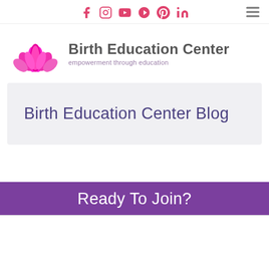Social icons: Facebook, Instagram, YouTube, Yelp, Pinterest, LinkedIn | Hamburger menu
[Figure (logo): Birth Education Center logo with pink lotus flower and text 'Birth Education Center' with tagline 'empowerment through education']
Birth Education Center Blog
Ready To Join?